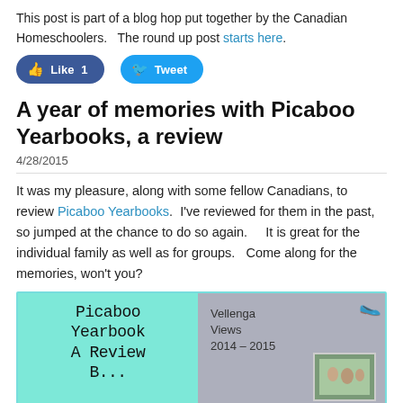This post is part of a blog hop put together by the Canadian Homeschoolers.   The round up post starts here.
[Figure (other): Social media buttons: Facebook Like (count 1) and Twitter Tweet buttons]
A year of memories with Picaboo Yearbooks, a review
4/28/2015
It was my pleasure, along with some fellow Canadians, to review Picaboo Yearbooks.  I've reviewed for them in the past, so jumped at the chance to do so again.    It is great for the individual family as well as for groups.   Come along for the memories, won't you?
[Figure (photo): Image with teal left side showing 'Picaboo Yearbook A Review B...' text, and right side showing a yearbook cover 'Vellenga Views 2014-2015' with small family photo]